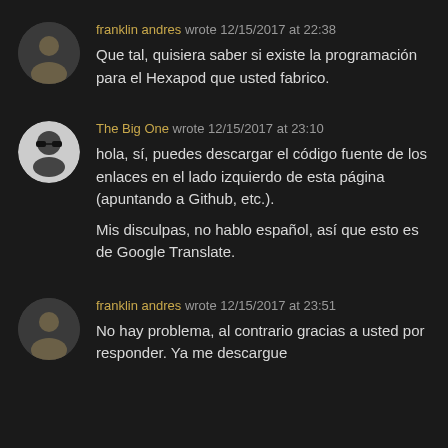franklin andres wrote 12/15/2017 at 22:38
Que tal, quisiera saber si existe la programación para el Hexapod que usted fabrico.
The Big One wrote 12/15/2017 at 23:10
hola, sí, puedes descargar el código fuente de los enlaces en el lado izquierdo de esta página (apuntando a Github, etc.).
Mis disculpas, no hablo español, así que esto es de Google Translate.
franklin andres wrote 12/15/2017 at 23:51
No hay problema, al contrario gracias a usted por responder. Ya me descargue